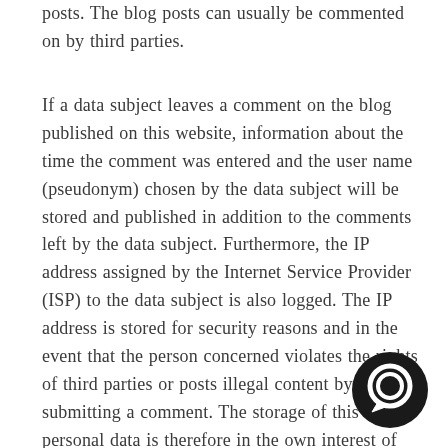posts. The blog posts can usually be commented on by third parties.
If a data subject leaves a comment on the blog published on this website, information about the time the comment was entered and the user name (pseudonym) chosen by the data subject will be stored and published in addition to the comments left by the data subject. Furthermore, the IP address assigned by the Internet Service Provider (ISP) to the data subject is also logged. The IP address is stored for security reasons and in the event that the person concerned violates the rights of third parties or posts illegal content by submitting a comment. The storage of this personal data is therefore in the own interest of the person responsible for processing, so that he could exculpate himself in the event of a violation of the law. This collected personal data will not be passed on to third parties unless such a transfer is required by law or serves the legal defence of the person